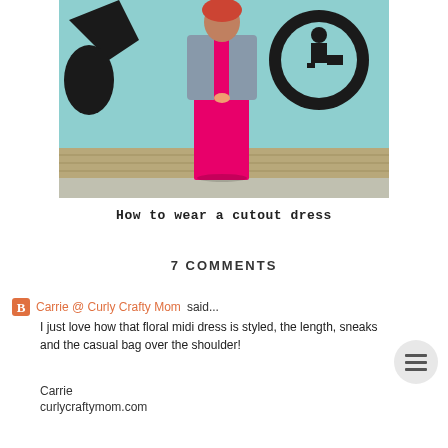[Figure (photo): Woman wearing a bright pink maxi/midi dress with a denim jacket, standing in front of a teal/blue wall with black mural artwork]
How to wear a cutout dress
7 COMMENTS
Carrie @ Curly Crafty Mom said...
I just love how that floral midi dress is styled, the length, sneaks and the casual bag over the shoulder!
Carrie
curlycraftymom.com